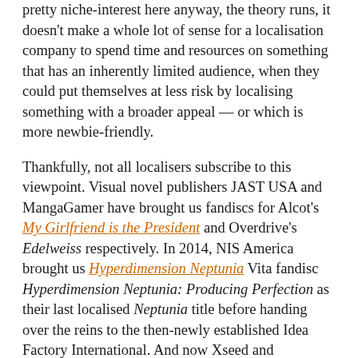pretty niche-interest here anyway, the theory runs, it doesn't make a whole lot of sense for a localisation company to spend time and resources on something that has an inherently limited audience, when they could put themselves at less risk by localising something with a broader appeal — or which is more newbie-friendly.
Thankfully, not all localisers subscribe to this viewpoint. Visual novel publishers JAST USA and MangaGamer have brought us fandiscs for Alcot's My Girlfriend is the President and Overdrive's Edelweiss respectively. In 2014, NIS America brought us Hyperdimension Neptunia Vita fandisc Hyperdimension Neptunia: Producing Perfection as their last localised Neptunia title before handing over the reins to the then-newly established Idea Factory International. And now Xseed and Marvelous Europe have been good enough to provide us with Senran Kagura Reflexions for Nintendo Switch, a game designed specifically for no-one but the most passionate of Senran Kagura fans —